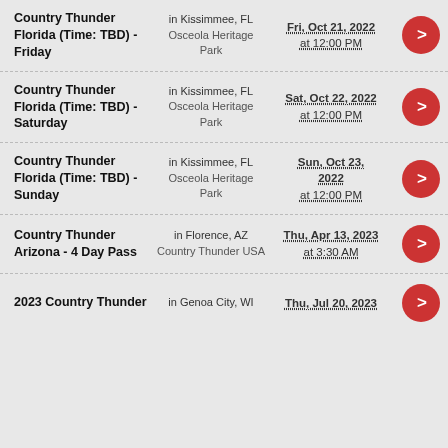Country Thunder Florida (Time: TBD) - Friday | in Kissimmee, FL Osceola Heritage Park | Fri, Oct 21, 2022 at 12:00 PM
Country Thunder Florida (Time: TBD) - Saturday | in Kissimmee, FL Osceola Heritage Park | Sat, Oct 22, 2022 at 12:00 PM
Country Thunder Florida (Time: TBD) - Sunday | in Kissimmee, FL Osceola Heritage Park | Sun, Oct 23, 2022 at 12:00 PM
Country Thunder Arizona - 4 Day Pass | in Florence, AZ Country Thunder USA | Thu, Apr 13, 2023 at 3:30 AM
2023 Country Thunder | in Genoa City, WI | Thu, Jul 20, 2023